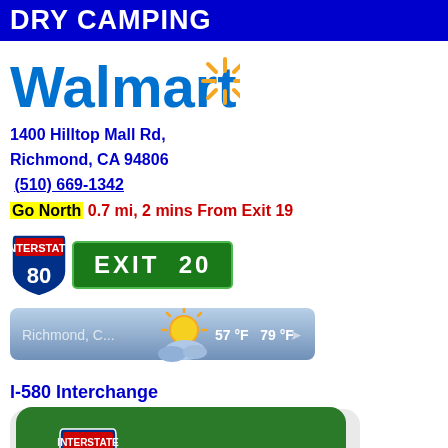DRY CAMPING
[Figure (logo): Walmart logo with blue text and orange spark/asterisk symbol]
1400 Hilltop Mall Rd, Richmond, CA 94806
(510) 669-1342
Go North 0.7 mi, 2 mins From Exit 19
[Figure (infographic): Interstate 80 shield badge and green Exit 20 sign]
[Figure (infographic): Weather bar showing Richmond, C... with partly sunny icon, 57°F 79°F]
I-580 Interchange
[Figure (infographic): Green map box with Interstate 580 shield and Top button]